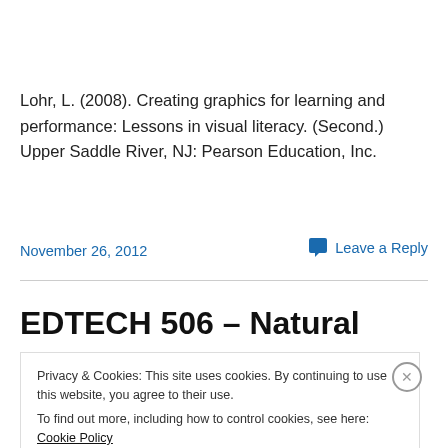Lohr, L. (2008). Creating graphics for learning and performance: Lessons in visual literacy. (Second.) Upper Saddle River, NJ: Pearson Education, Inc.
November 26, 2012
Leave a Reply
EDTECH 506 – Natural
Privacy & Cookies: This site uses cookies. By continuing to use this website, you agree to their use.
To find out more, including how to control cookies, see here: Cookie Policy
Close and accept